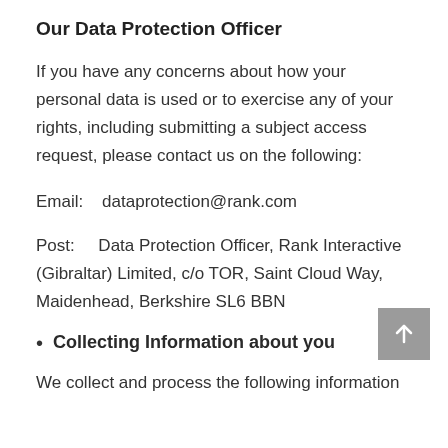Our Data Protection Officer
If you have any concerns about how your personal data is used or to exercise any of your rights, including submitting a subject access request, please contact us on the following:
Email:    dataprotection@rank.com
Post:      Data Protection Officer, Rank Interactive (Gibraltar) Limited, c/o TOR, Saint Cloud Way, Maidenhead, Berkshire SL6 BBN
Collecting Information about you
We collect and process the following information